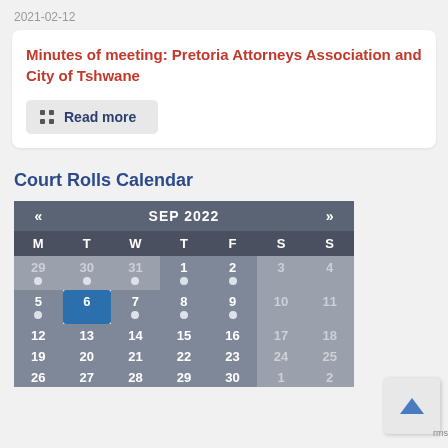2021-02-12
Minutes of meeting: Pretoria Attorneys Association and City of Tshwane
Read more
Court Rolls Calendar
[Figure (other): Calendar widget showing September 2022. Days M T W T F S S. Rows: 29-30-31-1-2-3-4 (with dots on weekdays), 5-6-7-8-9-10-11 (6 highlighted as today in blue), 12-13-14-15-16-17-18, 19-20-21-22-23-24-25, 26-27-28-29-30]